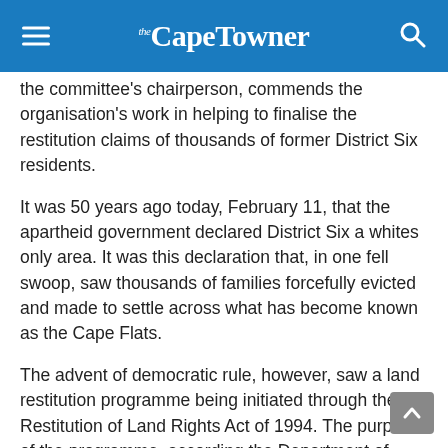the Cape Towner
the committee's chairperson, commends the organisation's work in helping to finalise the restitution claims of thousands of former District Six residents.
It was 50 years ago today, February 11, that the apartheid government declared District Six a whites only area. It was this declaration that, in one fell swoop, saw thousands of families forcefully evicted and made to settle across what has become known as the Cape Flats.
The advent of democratic rule, however, saw a land restitution programme being initiated through the Restitution of Land Rights Act of 1994. The purpose of the programme, according the Department of Land Reform and Rural Development's website, is “to provide equitable redress to victims of racially motivated land dispossession”.